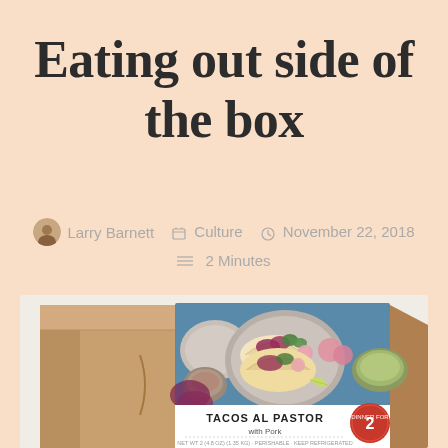Eating out side of the box
Larry Barnett   Culture   November 22, 2018   2 Minutes
[Figure (photo): A meal kit delivery box (cardboard) with a wrap-around label showing 'TACOS AL PASTOR with Pork' meal kit. The label features a photo of tacos on a blue plate with toppings including red cabbage, radish, cilantro, and lime.]